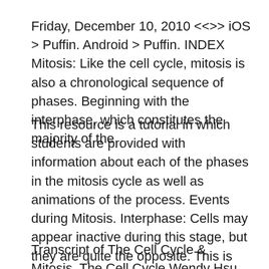Friday, December 10, 2010 <<>> iOS > Puffin. Android > Puffin. INDEX Mitosis: Like the cell cycle, mitosis is also a chronological sequence of phases. Beginning with the interphase, which constitutes the majority of the
This resource is a tutorial in which students are provided with information about each of the phases in the mitosis cycle as well as animations of the process. Events during Mitosis. Interphase: Cells may appear inactive during this stage, but they are quite the opposite. This is the longest period of the complete cell cycle
Transcript of The Cell Cycle & Mitosis. The Cell Cycle Wendy Hsu Mitosis Tutorial,